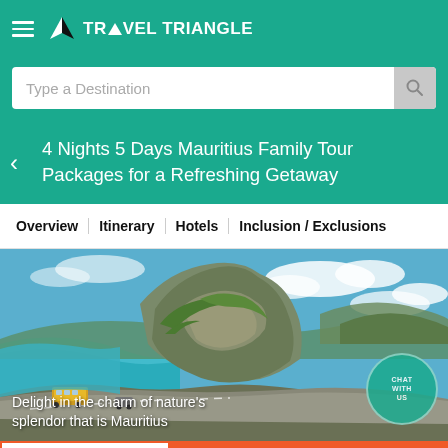TRAVEL TRIANGLE
Type a Destination
4 Nights 5 Days Mauritius Family Tour Packages for a Refreshing Getaway
Overview | Itinerary | Hotels | Inclusion / Exclusions
[Figure (photo): Scenic aerial view of Mauritius coastline with a rocky green mountain, curving coastal road, turquoise water, and a bus on the road under a partly cloudy sky.]
Delight in the charm of nature's splendor that is Mauritius
Call Us
Customize & Get Quotes